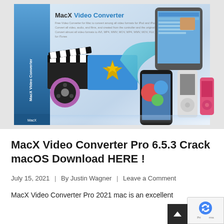[Figure (screenshot): Product box image of MacX Video Converter software showing the box packaging with a film clapperboard, movie reel, iMovie-like icon, and various Apple devices (iPad, iPhone, iPod) with a blue arrow graphic on a light blue/white gradient background.]
MacX Video Converter Pro 6.5.3 Crack macOS Download HERE !
July 15, 2021  |  By Justin Wagner  |  Leave a Comment
MacX Video Converter Pro 2021 mac is an excellent